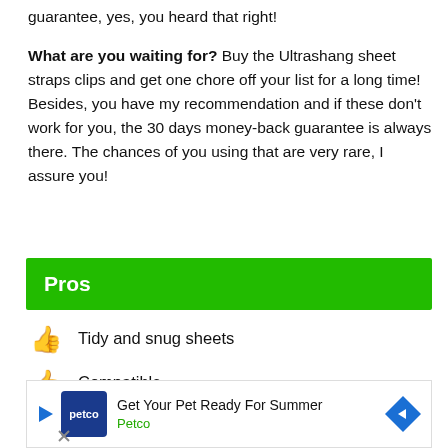guarantee, yes, you heard that right!
What are you waiting for? Buy the Ultrashang sheet straps clips and get one chore off your list for a long time! Besides, you have my recommendation and if these don't work for you, the 30 days money-back guarantee is always there. The chances of you using that are very rare, I assure you!
Pros
Tidy and snug sheets
Compatible
Anti-slip design
[Figure (other): Advertisement banner for Petco: Get Your Pet Ready For Summer, Petco]